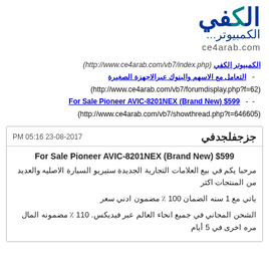[Figure (logo): Arabic logo for الكفي الكمبيوتر (ce4arab.com) in blue and teal colors]
ce4arab.com
الكمبيوتر الكفي (http://www.ce4arab.com/vb7/index.php) - التعامل مع الاسهم والبنوك عبرالاجهزة الصغيرة (http://www.ce4arab.com/vb7/forumdisplay.php?f=62) - - For Sale Pioneer AVIC-8201NEX (Brand New) $599 (http://www.ce4arab.com/vb7/showthread.php?t=646605)
جزجفلجدفي
PM 05:16 23-08-2017
For Sale Pioneer AVIC-8201NEX (Brand New) $599
مرحبا يكم في بيع العلامات التجارية الجديدة ستيريو السيارة الاصليه والعديد من المنتجات اكثر
ياتي مع 1 سنه الضمان 100 ٪ مضمون ادني سعر
الشحن المجاني في جميع انحاء العالم عبر فيديكس. 110 ٪ مضمونه المال مره اخرى في 5 أيام